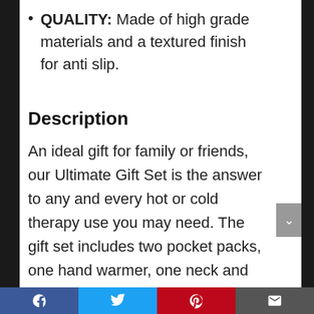QUALITY: Made of high grade materials and a textured finish for anti slip.
Description
An ideal gift for family or friends, our Ultimate Gift Set is the answer to any and every hot or cold therapy use you may need. The gift set includes two pocket packs, one hand warmer, one neck and should, and one back.
S
Facebook | Twitter | Pinterest | Email